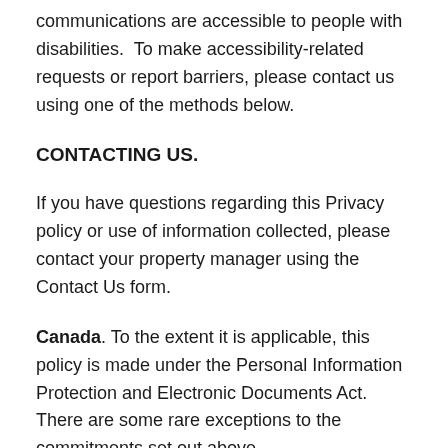communications are accessible to people with disabilities. To make accessibility-related requests or report barriers, please contact us using one of the methods below.
CONTACTING US.
If you have questions regarding this Privacy policy or use of information collected, please contact your property manager using the Contact Us form.
Canada. To the extent it is applicable, this policy is made under the Personal Information Protection and Electronic Documents Act. There are some rare exceptions to the commitments set out above.
For more general inquiries, the Information and Privacy Commissioner of Canada oversees the administration of the privacy legislation in the private sector. The Commissioner